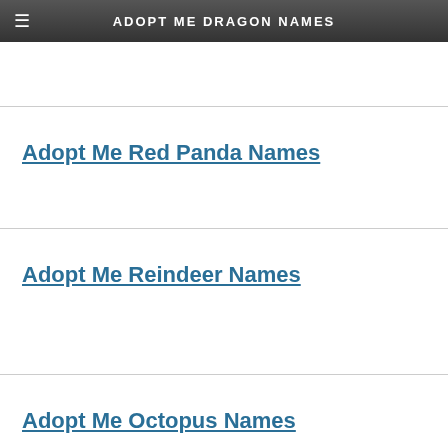ADOPT ME DRAGON NAMES
Adopt Me Red Panda Names
Adopt Me Reindeer Names
Adopt Me Octopus Names